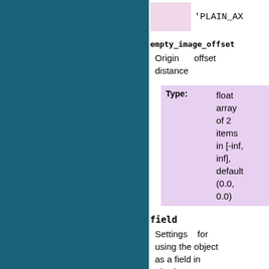'PLAIN_AX...
empty_image_offset
Origin offset distance
| Type: |  |
| --- | --- |
|  | float array of 2 items in [-inf, inf], default (0.0, 0.0) |
field
Settings for using the object as a field in physics simulation